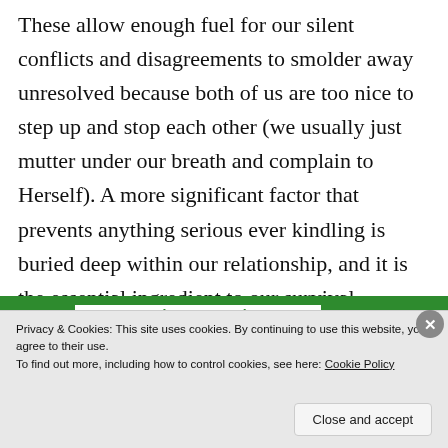These allow enough fuel for our silent conflicts and disagreements to smolder away unresolved because both of us are too nice to step up and stop each other (we usually just mutter under our breath and complain to Herself). A more significant factor that prevents anything serious ever kindling is buried deep within our relationship, and it is the essential ingredient to our survival together; understanding.
[Figure (other): Green banner with white text reading 'Back up your site' in center, green blocks on left and right]
Privacy & Cookies: This site uses cookies. By continuing to use this website, you agree to their use.
To find out more, including how to control cookies, see here: Cookie Policy